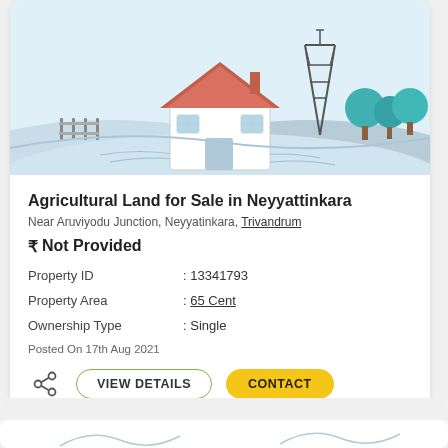[Figure (illustration): Agricultural/rural property illustration: a house with thatched/gabled roof, fence, transmission tower, rolling green hills, trees in teal/blue style]
Agricultural Land for Sale in Neyyattinkara
Near Aruviyodu Junction, Neyyatinkara, Trivandrum
₹ Not Provided
| Property | Value |
| --- | --- |
| Property ID | : 13341793 |
| Property Area | : 65 Cent |
| Ownership Type | : Single |
Posted On 17th Aug 2021
VIEW DETAILS   CONTACT